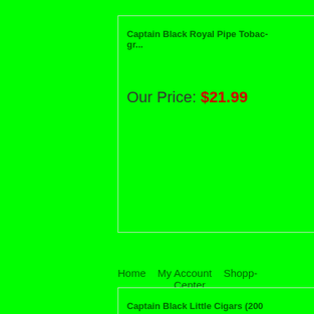Captain Black Royal Pipe Tobac- gr...
Our Price: $21.99
Captain Black Little Cigars (200
Our Price: $42.99
Home  My Account  Shopp- Center  © 2005